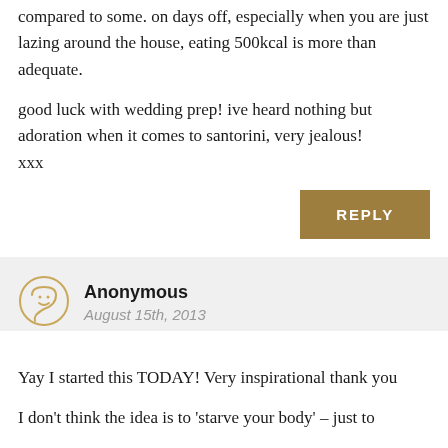compared to some. on days off, especially when you are just lazing around the house, eating 500kcal is more than adequate.
good luck with wedding prep! ive heard nothing but adoration when it comes to santorini, very jealous! xxx
REPLY
Anonymous
August 15th, 2013
Yay I started this TODAY! Very inspirational thank you
I don't think the idea is to 'starve your body' – just to